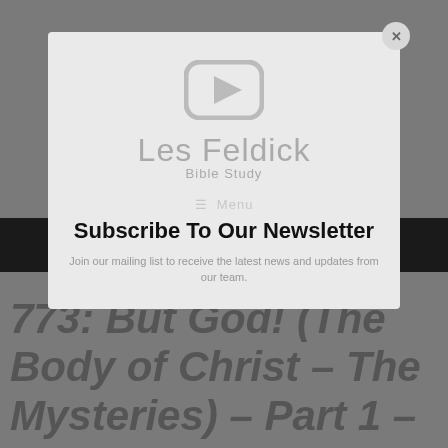[Figure (screenshot): Les Feldick Bible Study logo with YouTube-style play button icon, displayed in a modal overlay on a gray background]
Les Feldick
Bible Study
☰ Menu
Subscribe To Our Newsletter
Join our mailing list to receive the latest news and updates from our team.
773: But God! (The Body of Christ – The Mysteries) – Part 1 – Lesson 2 Part 1 Book 65